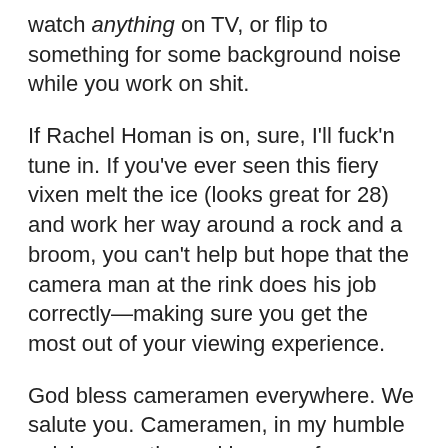watch anything on TV, or flip to something for some background noise while you work on shit.
If Rachel Homan is on, sure, I'll fuck'n tune in. If you've ever seen this fiery vixen melt the ice (looks great for 28) and work her way around a rock and a broom, you can't help but hope that the camera man at the rink does his job correctly—making sure you get the most out of your viewing experience.
God bless cameramen everywhere. We salute you. Cameramen, in my humble opinion, are the real heroes of our nation, second to veterans and current service members, of course.